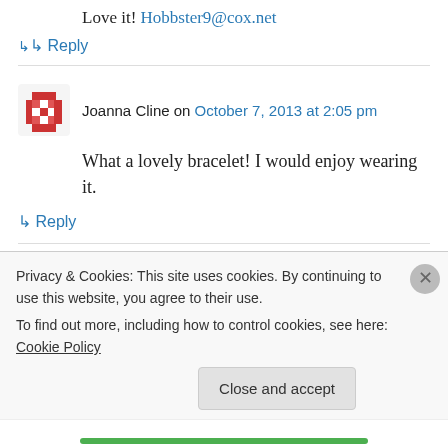Love it! Hobbster9@cox.net
↳ Reply
Joanna Cline on October 7, 2013 at 2:05 pm
What a lovely bracelet! I would enjoy wearing it.
↳ Reply
Lizbeth Batho on October 7, 2013 at 2:06 pm
Privacy & Cookies: This site uses cookies. By continuing to use this website, you agree to their use. To find out more, including how to control cookies, see here: Cookie Policy
Close and accept